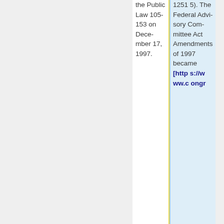| the Public Law 105-153 on December 17, 1997. | 12515). The Federal Advisory Committee Act Amendments of 1997 became [https://www.congr... |